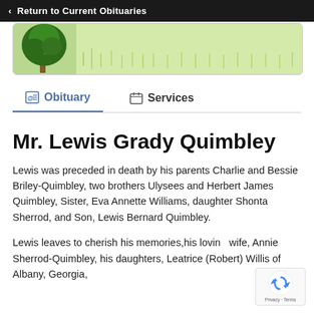‹ Return to Current Obituaries
[Figure (illustration): Green tree and grassy nature banner image with bold italic text 'Plant Memorial Trees' overlaid on a light green background.]
Obituary | Services
Mr. Lewis Grady Quimbley
Lewis was preceded in death by his parents Charlie and Bessie Briley-Quimbley, two brothers Ulysees and Herbert James Quimbley, Sister, Eva Annette Williams, daughter Shonta Sherrod, and Son, Lewis Bernard Quimbley.
Lewis leaves to cherish his memories, his loving wife, Annie Sherrod-Quimbley, his daughters, Leatrice (Robert) Willis of Albany, Georgia,